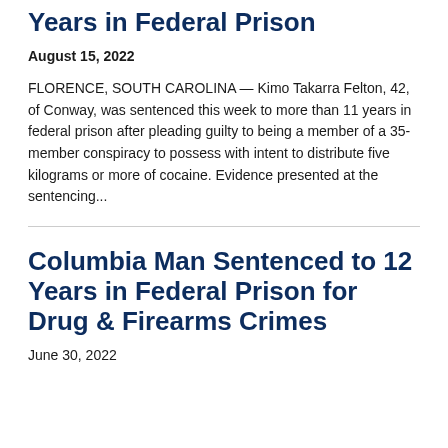Sentenced to More Than 11 Years in Federal Prison
August 15, 2022
FLORENCE, SOUTH CAROLINA — Kimo Takarra Felton, 42, of Conway, was sentenced this week to more than 11 years in federal prison after pleading guilty to being a member of a 35-member conspiracy to possess with intent to distribute five kilograms or more of cocaine. Evidence presented at the sentencing...
Columbia Man Sentenced to 12 Years in Federal Prison for Drug & Firearms Crimes
June 30, 2022